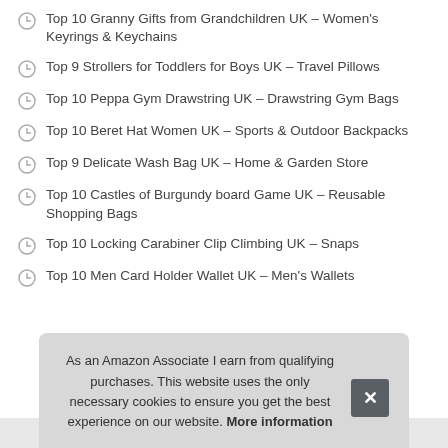Top 10 Granny Gifts from Grandchildren UK – Women's Keyrings & Keychains
Top 9 Strollers for Toddlers for Boys UK – Travel Pillows
Top 10 Peppa Gym Drawstring UK – Drawstring Gym Bags
Top 10 Beret Hat Women UK – Sports & Outdoor Backpacks
Top 9 Delicate Wash Bag UK – Home & Garden Store
Top 10 Castles of Burgundy board Game UK – Reusable Shopping Bags
Top 10 Locking Carabiner Clip Climbing UK – Snaps
Top 10 Men Card Holder Wallet UK – Men's Wallets
As an Amazon Associate I earn from qualifying purchases. This website uses the only necessary cookies to ensure you get the best experience on our website. More information